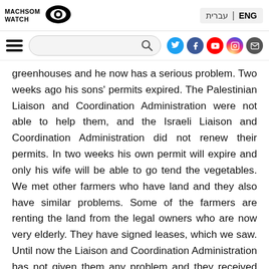MACHSOM WATCH | ENG עברית
[Figure (logo): Machsom Watch logo with eye icon]
greenhouses and he now has a serious problem. Two weeks ago his sons' permits expired. The Palestinian Liaison and Coordination Administration were not able to help them, and the Israeli Liaison and Coordination Administration did not renew their permits. In two weeks his own permit will expire and only his wife will be able to go tend the vegetables. We met other farmers who have land and they also have similar problems. Some of the farmers are renting the land from the legal owners who are now very elderly. They have signed leases, which we saw. Until now the Liaison and Coordination Administration has not given them any problem and they received permits to cross from the West